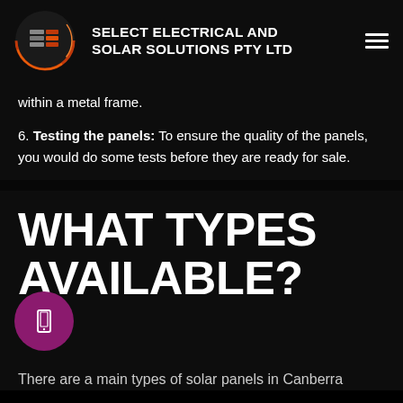SELECT ELECTRICAL AND SOLAR SOLUTIONS PTY LTD
within a metal frame.
6. Testing the panels: To ensure the quality of the panels, you would do some tests before they are ready for sale.
WHAT TYPES AVAILABLE?
There are a main types of solar panels in Canberra